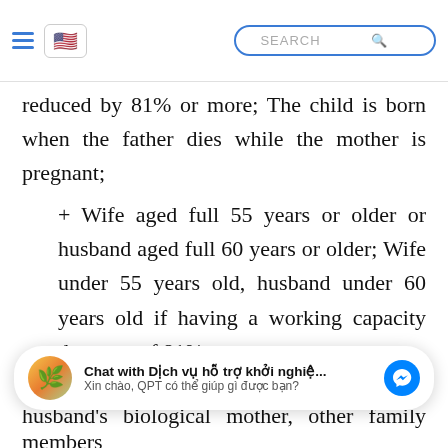Navigation bar with hamburger menu, US flag button, and search box
reduced by 81% or more; The child is born when the father dies while the mother is pregnant;
+ Wife aged full 55 years or older or husband aged full 60 years or older; Wife under 55 years old, husband under 60 years old if having a working capacity decrease of 81% or more;
+ The biological father, natural mother, the biological father of the wife or husband's biological
husband's biological mother, other family members
Chat with Dịch vụ hỗ trợ khởi nghiệ... Xin chào, QPT có thể giúp gì được bạn?